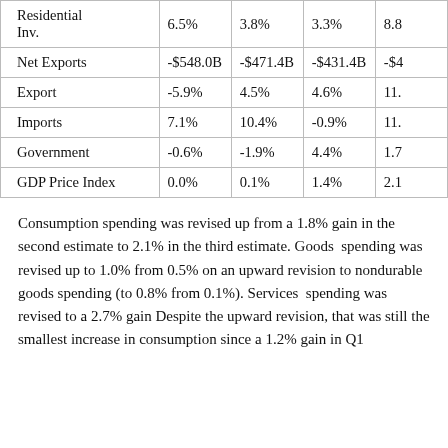|  | Col1 | Col2 | Col3 | Col4 |
| --- | --- | --- | --- | --- |
| Residential Inv. | 6.5% | 3.8% | 3.3% | 8.8 |
| Net Exports | -$548.0B | -$471.4B | -$431.4B | -$4… |
| Export | -5.9% | 4.5% | 4.6% | 11. |
| Imports | 7.1% | 10.4% | -0.9% | 11. |
| Government | -0.6% | -1.9% | 4.4% | 1.7 |
| GDP Price Index | 0.0% | 0.1% | 1.4% | 2.1 |
Consumption spending was revised up from a 1.8% gain in the second estimate to 2.1% in the third estimate. Goods spending was revised up to 1.0% from 0.5% on an upward revision to nondurable goods spending (to 0.8% from 0.1%). Services spending was revised to a 2.7% gain Despite the upward revision, that was still the smallest increase in consumption since a 1.2% gain in Q1